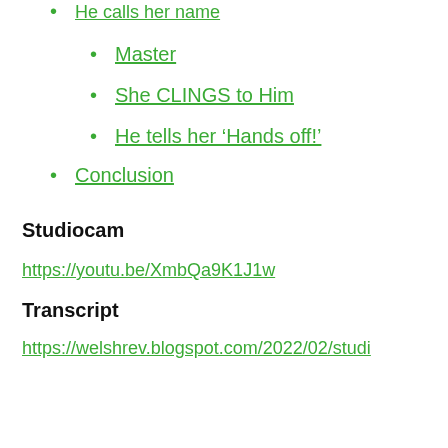• He calls her name
• Master
• She CLINGS to Him
• He tells her 'Hands off!'
• Conclusion
Studiocam
https://youtu.be/XmbQa9K1J1w
Transcript
https://welshrev.blogspot.com/2022/02/studi